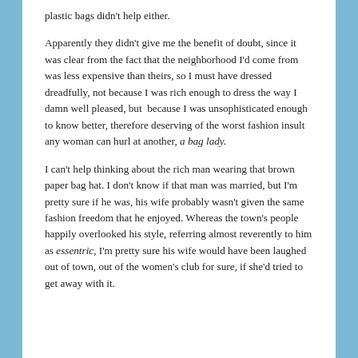plastic bags didn't help either.
Apparently they didn't give me the benefit of doubt, since it was clear from the fact that the neighborhood I'd come from was less expensive than theirs, so I must have dressed dreadfully, not because I was rich enough to dress the way I damn well pleased, but  because I was unsophisticated enough to know better, therefore deserving of the worst fashion insult any woman can hurl at another, a bag lady.
I can't help thinking about the rich man wearing that brown paper bag hat. I don't know if that man was married, but I'm pretty sure if he was, his wife probably wasn't given the same fashion freedom that he enjoyed. Whereas the town's people happily overlooked his style, referring almost reverently to him as essentric, I'm pretty sure his wife would have been laughed out of town, out of the women's club for sure, if she'd tried to get away with it.